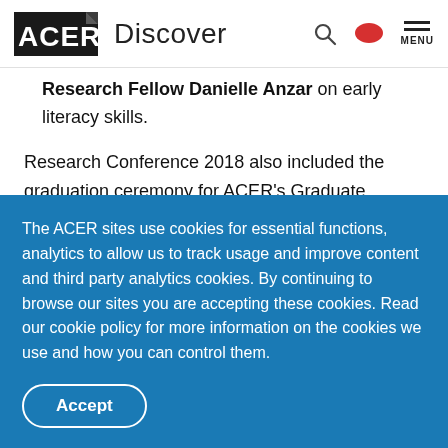ACER Discover
Research Fellow Danielle Anzar on early literacy skills.
Research Conference 2018 also included the graduation ceremony for ACER's Graduate Certificate of Education – Assessment of Student Learning, as well as a celebration
The ACER sites use cookies for essential functions, analytics to allow us to track usage and improve content and third party analytics cookies. By continuing to browse our sites you are accepting these cookies. Read our cookie policy for more information on the cookies we use and how you can control them.
Accept